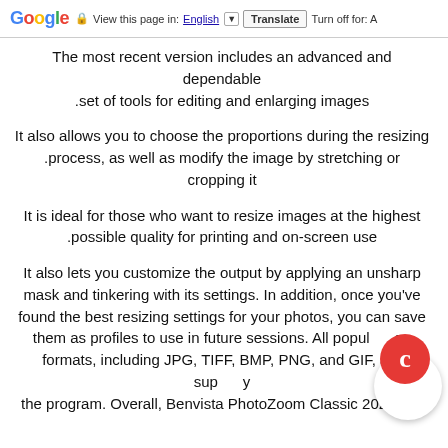Google  View this page in: English [▼]  Translate  Turn off for: A
The most recent version includes an advanced and dependable set of tools for editing and enlarging images.
It also allows you to choose the proportions during the resizing process, as well as modify the image by stretching or cropping it.
It is ideal for those who want to resize images at the highest possible quality for printing and on-screen use.
It also lets you customize the output by applying an unsharp mask and tinkering with its settings. In addition, once you've found the best resizing settings for your photos, you can save them as profiles to use in future sessions. All popular image formats, including JPG, TIFF, BMP, PNG, and GIF, are supported by the program. Overall, Benvista PhotoZoom Classic 2022 is a